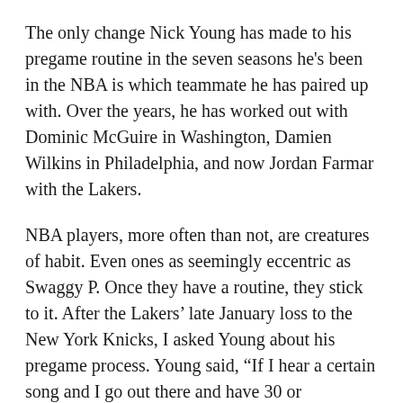The only change Nick Young has made to his pregame routine in the seven seasons he's been in the NBA is which teammate he has paired up with. Over the years, he has worked out with Dominic McGuire in Washington, Damien Wilkins in Philadelphia, and now Jordan Farmar with the Lakers.
NBA players, more often than not, are creatures of habit. Even ones as seemingly eccentric as Swaggy P. Once they have a routine, they stick to it. After the Lakers' late January loss to the New York Knicks, I asked Young about his pregame process. Young said, “If I hear a certain song and I go out there and have 30 or something, I’ll play that whole song [next game].” When I asked what the last song that happened with was, he was defiant. “I can’t tell you that, man! I can’t give you all that.”